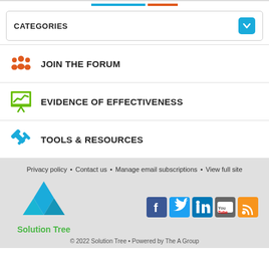CATEGORIES
JOIN THE FORUM
EVIDENCE OF EFFECTIVENESS
TOOLS & RESOURCES
Privacy policy • Contact us • Manage email subscriptions • View full site
[Figure (logo): Solution Tree pyramid logo with teal/blue triangular shapes and 'Solution Tree' text in green]
[Figure (infographic): Social media icons: Facebook, Twitter, LinkedIn, YouTube, RSS]
© 2022 Solution Tree • Powered by The A Group